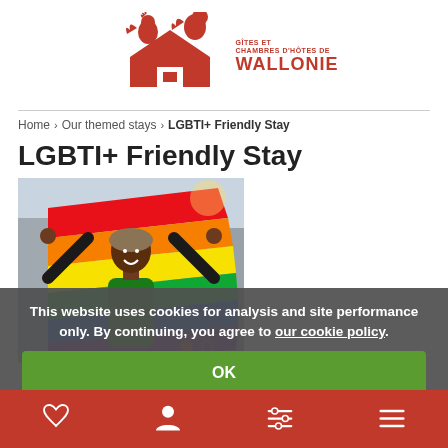[Figure (logo): Gîtes et Chambres d'Hôtes de Wallonie logo — red rooster and house icon with text]
Home > Our themed stays > LGBTI+ Friendly Stay
LGBTI+ Friendly Stay
[Figure (photo): Woman holding rainbow pride flag above her head, smiling]
This website uses cookies for analysis and site performance only. By continuing, you agree to our cookie policy.
OK
Bottom navigation bar with heart, person, filter, and menu icons